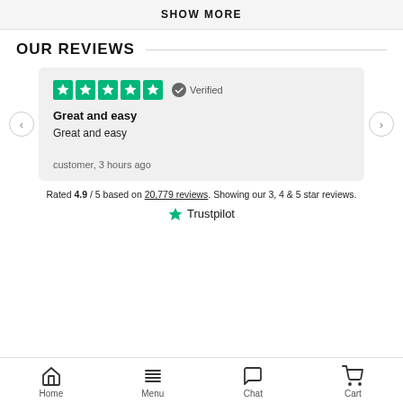SHOW MORE
OUR REVIEWS
[Figure (screenshot): Trustpilot review card with 5 green stars, Verified badge, review title 'Great and easy', review body 'Great and easy', reviewer 'customer, 3 hours ago', with left and right carousel navigation buttons]
Rated 4.9 / 5 based on 20,779 reviews. Showing our 3, 4 & 5 star reviews.
[Figure (logo): Trustpilot star logo with text 'Trustpilot']
Home  Menu  Chat  Cart